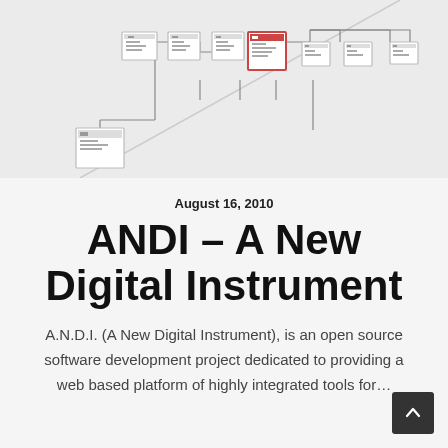[Figure (flowchart): A software workflow diagram showing multiple connected nodes/boxes with arrows on a light gray background. One node is highlighted in red. A diagonal line separates sections. A standalone node appears at the bottom left.]
August 16, 2010
ANDI – A New Digital Instrument
A.N.D.I. (A New Digital Instrument), is an open source software development project dedicated to providing a web based platform of highly integrated tools for…